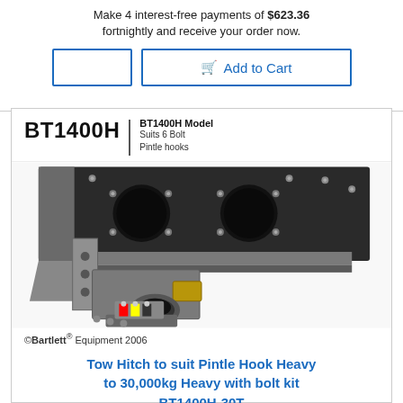Make 4 interest-free payments of $623.36 fortnightly and receive your order now.
[Figure (screenshot): Two buttons: an empty bordered button and an 'Add to Cart' button with cart icon, both with blue borders]
[Figure (illustration): 3D rendered illustration of a Tow Hitch BT1400H product showing a heavy-duty metal hitch assembly with pintle hook, bolt holes, and grey steel construction on a white background. Header shows 'BT1400H' model name and 'BT1400H Model / Suits 6 Bolt / Pintle hooks' text.]
©Bartlett® Equipment 2006
Tow Hitch to suit Pintle Hook Heavy to 30,000kg Heavy with bolt kit BT1400H-30T